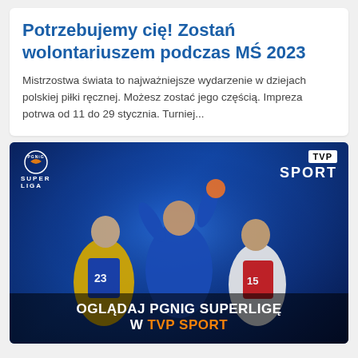Potrzebujemy cię! Zostań wolontariuszem podczas MŚ 2023
Mistrzostwa świata to najważniejsze wydarzenie w dziejach polskiej piłki ręcznej. Możesz zostać jego częścią. Impreza potrwa od 11 do 29 stycznia. Turniej...
[Figure (photo): Promotional banner for PGNiG Superliga on TVP Sport showing three handball players against a dark blue background with text 'OGLĄDAJ PGNIG SUPERLIGĘ W TVP SPORT']